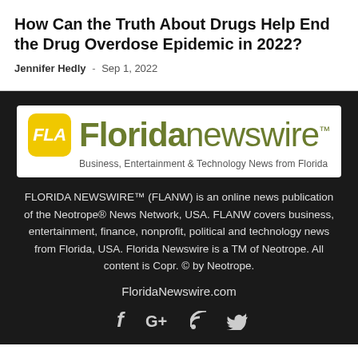How Can the Truth About Drugs Help End the Drug Overdose Epidemic in 2022?
Jennifer Hedly - Sep 1, 2022
[Figure (logo): Florida Newswire logo with FLA badge in yellow, wordmark in olive green, tagline: Business, Entertainment & Technology News from Florida]
FLORIDA NEWSWIRE™ (FLANW) is an online news publication of the Neotrope® News Network, USA. FLANW covers business, entertainment, finance, nonprofit, political and technology news from Florida, USA. Florida Newswire is a TM of Neotrope. All content is Copr. © by Neotrope.
FloridaNewswire.com
[Figure (other): Social media icons: Facebook (f), Google+ (G+), RSS feed, Twitter bird]